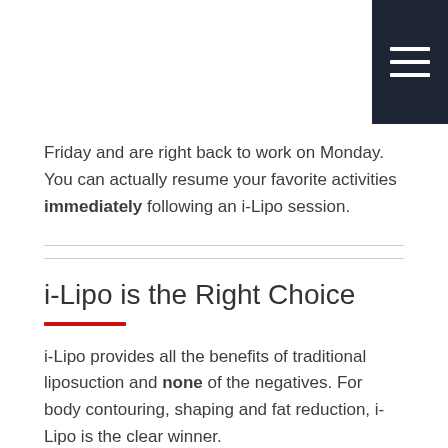[Figure (other): Navigation hamburger menu icon in dark navy square in top-right corner]
Friday and are right back to work on Monday. You can actually resume your favorite activities immediately following an i-Lipo session.
i-Lipo is the Right Choice
i-Lipo provides all the benefits of traditional liposuction and none of the negatives. For body contouring, shaping and fat reduction, i-Lipo is the clear winner.
To schedule an i-Lipo consultation, please call (410) 204-2254 or contact A Better You MediSpa & Wellness online .
Request Your